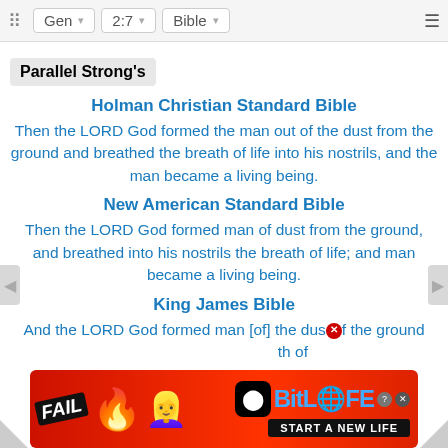Gen 2:7 Bible
Parallel Strong's
Holman Christian Standard Bible
Then the LORD God formed the man out of the dust from the ground and breathed the breath of life into his nostrils, and the man became a living being.
New American Standard Bible
Then the LORD God formed man of dust from the ground, and breathed into his nostrils the breath of life; and man became a living being.
King James Bible
And the LORD God formed man [of] the dust of the ground and breathed into his nostrils the breath of
[Figure (screenshot): BitLife advertisement banner with 'FAIL' text, cartoon character, flames, and 'START A NEW LIFE' call to action]